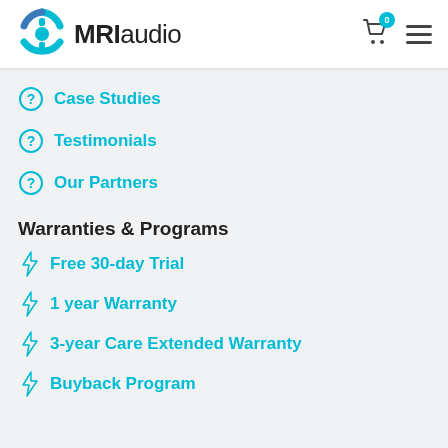[Figure (logo): MRI audio logo with teal circular icon and MRIaudio text]
Case Studies
Testimonials
Our Partners
Warranties & Programs
Free 30-day Trial
1 year Warranty
3-year Care Extended Warranty
Buyback Program